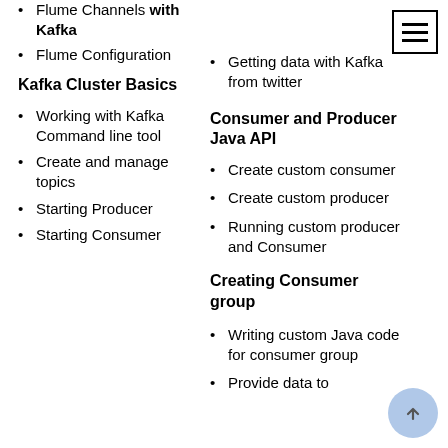Flume Channels with Kafka
Flume Configuration
Getting data with Kafka from twitter
Kafka Cluster Basics
Working with Kafka Command line tool
Create and manage topics
Starting Producer
Starting Consumer
Consumer and Producer Java API
Create custom consumer
Create custom producer
Running custom producer and Consumer
Creating Consumer group
Writing custom Java code for consumer group
Provide data to